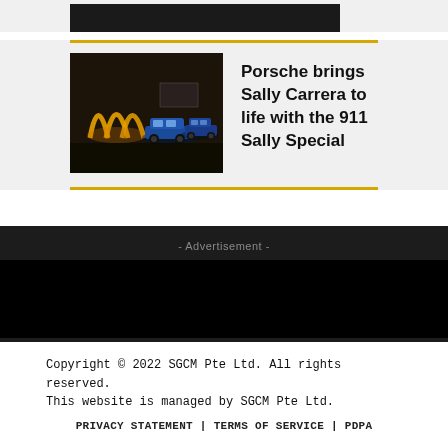[Figure (photo): Dark placeholder image block at top]
[Figure (photo): Porsche 911 Sally Special cars parked near golden arches lights at night]
Porsche brings Sally Carrera to life with the 911 Sally Special
- Advertisement -
Copyright © 2022 SGCM Pte Ltd. All rights reserved.
This website is managed by SGCM Pte Ltd.
PRIVACY STATEMENT | TERMS OF SERVICE | PDPA